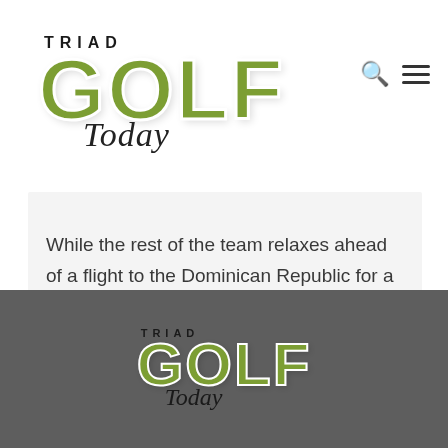[Figure (logo): Triad Golf Today logo - top header with green bold GOLF text, TRIAD above in black, Today in script below, search and hamburger menu icons to the right]
While the rest of the team relaxes ahead of a flight to the Dominican Republic for a tournament, she is chatting away on her cell phone. “At least the bus is kind of loud,”…
[Figure (logo): Triad Golf Today logo - footer version on dark gray background, green bold GOLF text, TRIAD above in dark, Today in script below]